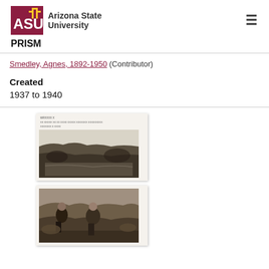ASU Arizona State University | PRISM
Smedley, Agnes, 1892-1950 (Contributor)
Created
1937 to 1940
[Figure (photo): A document page thumbnail showing two historical photographs: one of a rocky/hilly landscape with water reflection, and one of people in a rocky outdoor setting.]